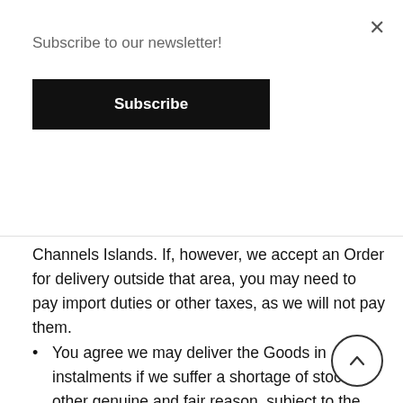Subscribe to our newsletter!
Subscribe
Channels Islands. If, however, we accept an Order for delivery outside that area, you may need to pay import duties or other taxes, as we will not pay them.
You agree we may deliver the Goods in instalments if we suffer a shortage of stock or other genuine and fair reason, subject to the above provisions and provided you are not liable for extra charges.
If you or your nominee fail, through no fault of ours, to take delivery of the